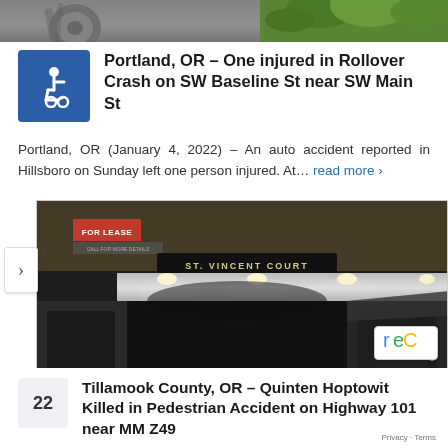[Figure (photo): Top strip showing a vehicle wheel/tire and green foliage in background]
Portland, OR – One injured in Rollover Crash on SW Baseline St near SW Main St
Portland, OR (January 4, 2022) – An auto accident reported in Hillsboro on Sunday left one person injured. At... read more ›
[Figure (photo): Nighttime photo of St. Vincent Court arcade/tunnel passage with 'FOR LEASE' sign and people walking]
Tillamook County, OR – Quinten Hoptowit Killed in Pedestrian Accident on Highway 101 near MM Z49